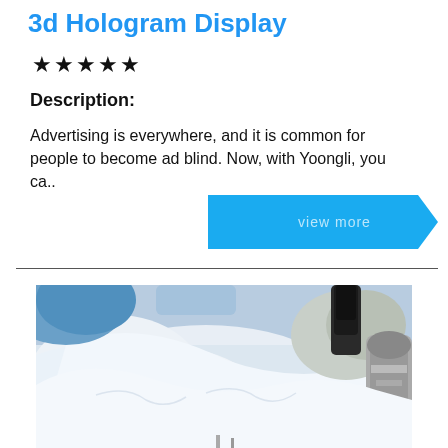3d Hologram Display
★★★★★
Description:
Advertising is everywhere, and it is common for people to become ad blind. Now, with Yoongli, you ca..
[Figure (other): Blue arrow 'view more' button]
[Figure (photo): A scientist in a white lab coat and gloves working with a microscope in a laboratory setting]